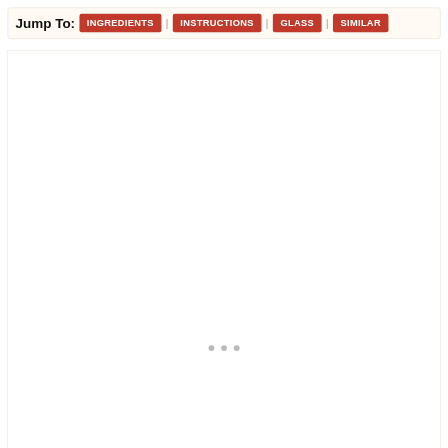Jump To: INGREDIENTS | INSTRUCTIONS | GLASS | SIMILAR
[Figure (other): Large blank white advertisement/content placeholder area with three small grey loading dots in the center]
[Figure (other): Red circular like/favorites button with heart icon showing count of 1, and a share button below it]
CrystalMixer.com is intended for responsible adults of legal drinking age in the Un...
[Figure (other): Advertisement banner: DON'T TEXT AND [car image] ad label, NHTSA branding]